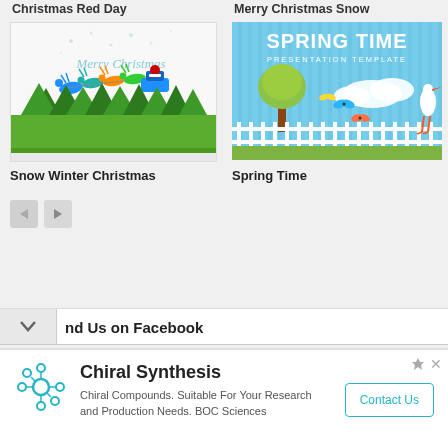Christmas Red Day
Merry Christmas Snow
[Figure (illustration): Snow Winter Christmas presentation template showing Santa's sleigh with reindeer flying over snowy green pine forest with 'Merry Christmas' text]
[Figure (illustration): Spring Time Presentation Template with blue striped background, tree with yellow-green foliage, butterflies, clouds and a stork bird]
Snow Winter Christmas
Spring Time
nd Us on Facebook
Chiral Synthesis
Chiral Compounds. Suitable For Your Research and Production Needs. BOC Sciences
Contact Us